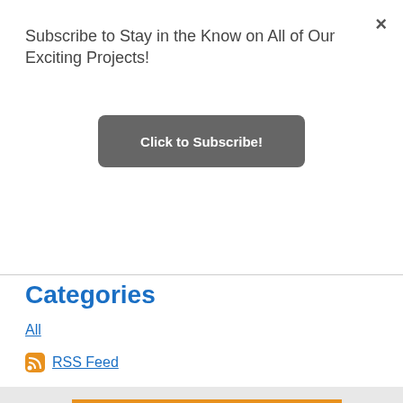Subscribe to Stay in the Know on All of Our Exciting Projects!
×
Click to Subscribe!
Categories
All
RSS Feed
Support Sequenza Chamber Music Inc
When you shop at smile.am
SUPPORT US